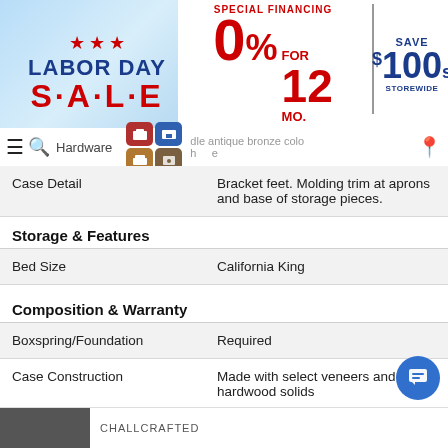[Figure (illustration): Labor Day Sale banner with stars, 0% for 12 months financing offer, and Save $100s Storewide promotional header]
Navigation bar with hamburger menu, search icon, Hardware label, furniture category icons, antique bronze color description, and location pin icon
|  |  |
| --- | --- |
| Case Detail | Bracket feet. Molding trim at aprons and base of storage pieces. |
| Storage & Features |  |
| Bed Size | California King |
| Composition & Warranty |  |
| Boxspring/Foundation | Required |
| Case Construction | Made with select veneers and hardwood solids |
| Origin | Imported |
Bottom navigation strip